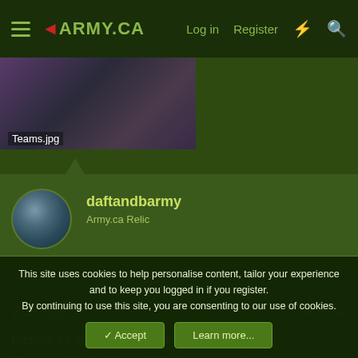◄ARMY.CA  Log in  Register
[Figure (photo): Partial image thumbnail labeled Teams.jpg showing a dark blurred photo]
daftandbarmy
Army.ca Relic
9 Oct 2020  #164
Prepare for something 'different' in November....
'The country's lost its mind': Polls warning of civil war, violence shows deep partisan chasm over election
This site uses cookies to help personalise content, tailor your experience and to keep you logged in if you register.
By continuing to use this site, you are consenting to our use of cookies.